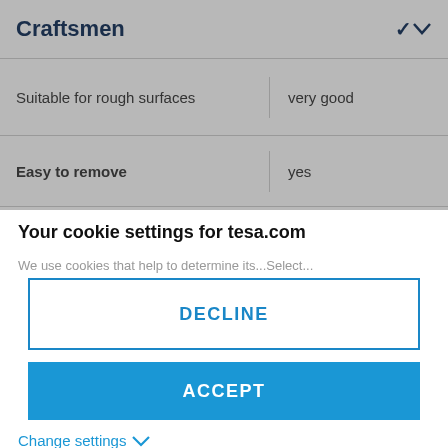Craftsmen
| Suitable for rough surfaces | very good |
| Easy to remove | yes |
Your cookie settings for tesa.com
We use cookies that help to determine its...
DECLINE
ACCEPT
Change settings